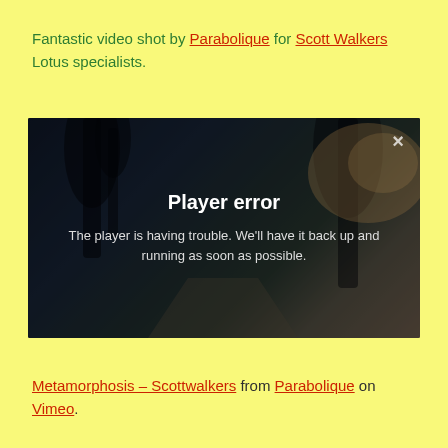Fantastic video shot by Parabolique for Scott Walkers Lotus specialists.
[Figure (screenshot): Video player showing a dark landscape with trees and sunset light, overlaid with a 'Player error' message: 'The player is having trouble. We'll have it back up and running as soon as possible.' A close (×) button is in the top right corner.]
Metamorphosis – Scottwalkers from Parabolique on Vimeo.